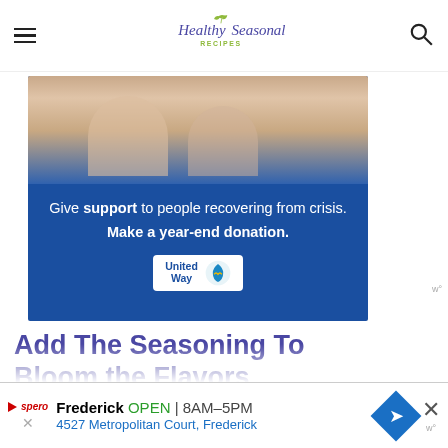Healthy Seasonal Recipes
[Figure (infographic): United Way donation advertisement banner with photo of people and text: Give support to people recovering from crisis. Make a year-end donation.]
Add The Seasoning To Bloom the Flavors
Next add in the dried herbs and smoked paprika to bloom their flavors. The heat will start the activation and the flavors will carry in the oil. I also add salt and pepper at this point.
Frederick OPEN 8AM–5PM 4527 Metropolitan Court, Frederick